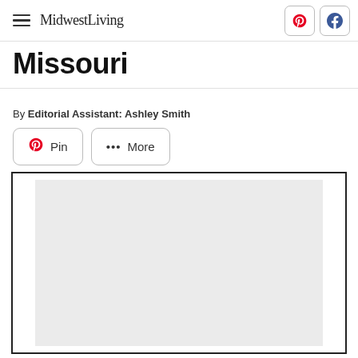MidwestLiving
Missouri
By Editorial Assistant: Ashley Smith
[Figure (screenshot): Share buttons row with Pinterest Pin button and More button with ellipsis dots]
[Figure (photo): Image placeholder area with light gray background inside a black border box]